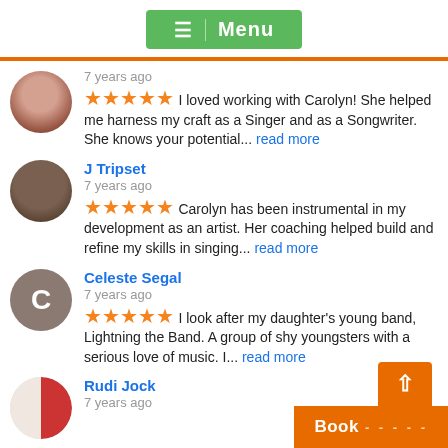[Figure (screenshot): Green menu button with hamburger icon and 'Menu' text]
7 years ago
★★★★★ I loved working with Carolyn! She helped me harness my craft as a Singer and as a Songwriter. She knows your potential... read more
J Tripset
7 years ago
★★★★★ Carolyn has been instrumental in my development as an artist. Her coaching helped build and refine my skills in singing... read more
Celeste Segal
7 years ago
★★★★★ I look after my daughter's young band, Lightning the Band. A group of shy youngsters with a serious love of music.  I... read more
Rudi Jock
7 years ago